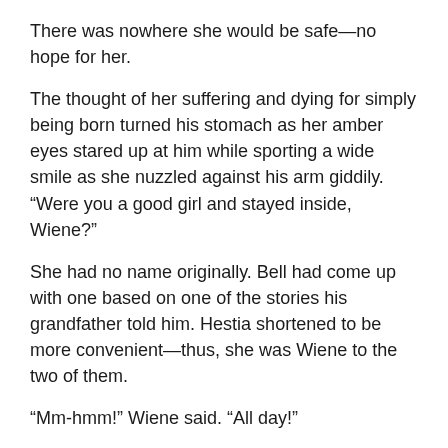There was nowhere she would be safe—no hope for her.
The thought of her suffering and dying for simply being born turned his stomach as her amber eyes stared up at him while sporting a wide smile as she nuzzled against his arm giddily. “Were you a good girl and stayed inside, Wiene?”
She had no name originally. Bell had come up with one based on one of the stories his grandfather told him. Hestia shortened to be more convenient—thus, she was Wiene to the two of them.
“Mm-hmm!” Wiene said. “All day!”
“Good girl.” He gingerly brushed her hair, eliciting a pleasant sound from her throat as from the opened door emerged Hestia. “I’m home, Goddess.”